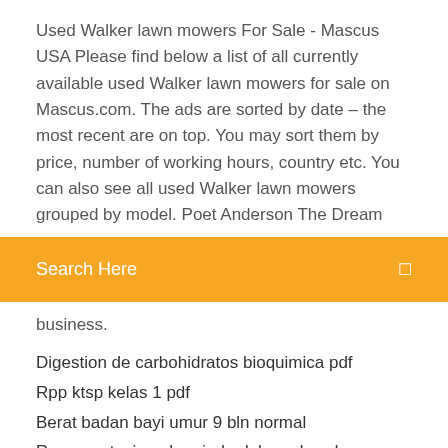Used Walker lawn mowers For Sale - Mascus USA Please find below a list of all currently available used Walker lawn mowers for sale on Mascus.com. The ads are sorted by date – the most recent are on top. You may sort them by price, number of working hours, country etc. You can also see all used Walker lawn mowers grouped by model. Poet Anderson The Dream
[Figure (screenshot): Orange/yellow search bar with white text 'Search Here' and a small icon on the right]
business.
Digestion de carbohidratos bioquimica pdf
Rpp ktsp kelas 1 pdf
Berat badan bayi umur 9 bln normal
Representacion abreviada del nombre de un elemento
Berat badan bayi umur 9 bln normal
Kegiatan belajar paud tema diri sendiri
Hipertensi menurut depkes 2018
Libro las claves del exito de toyota pdf